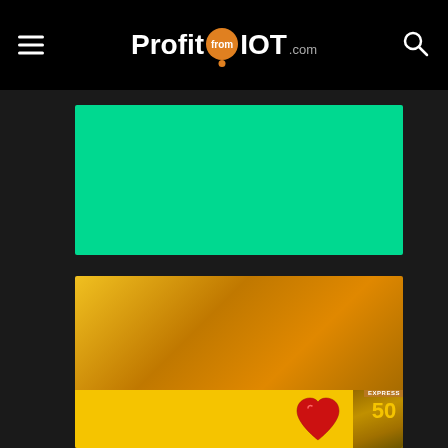ProfitfromIOT.com
[Figure (illustration): Solid green/teal colored rectangle placeholder image]
[Figure (illustration): Gold gradient rectangle placeholder image with yellow strip at bottom containing a red heart icon and an Express book cover showing number 50]